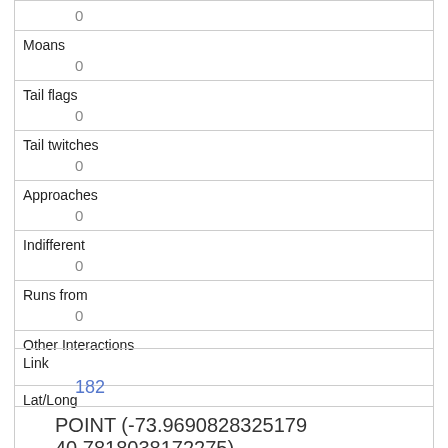|  | 0 |
| Moans | 0 |
| Tail flags | 0 |
| Tail twitches | 0 |
| Approaches | 0 |
| Indifferent | 0 |
| Runs from | 0 |
| Other Interactions |  |
| Lat/Long | POINT (-73.9690828325179 40.7818038172275) |
| Link | 182 |